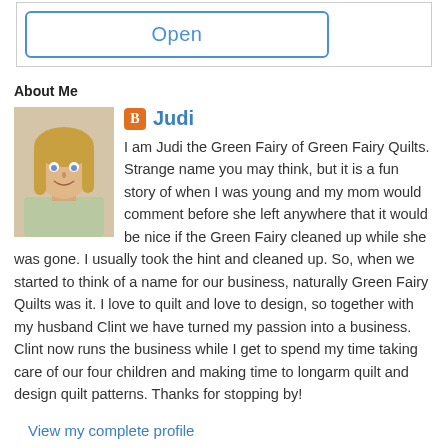[Figure (other): Open button — a rectangular button with blue border and blue text reading 'Open']
About Me
[Figure (photo): Profile photo of a blonde woman smiling]
Judi
I am Judi the Green Fairy of Green Fairy Quilts. Strange name you may think, but it is a fun story of when I was young and my mom would comment before she left anywhere that it would be nice if the Green Fairy cleaned up while she was gone. I usually took the hint and cleaned up. So, when we started to think of a name for our business, naturally Green Fairy Quilts was it. I love to quilt and love to design, so together with my husband Clint we have turned my passion into a business. Clint now runs the business while I get to spend my time taking care of our four children and making time to longarm quilt and design quilt patterns. Thanks for stopping by!
View my complete profile
Powered by Blogger.